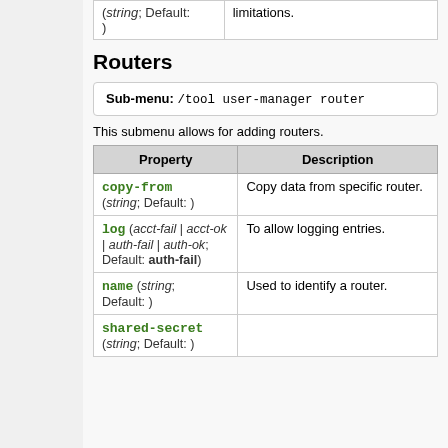|  |  |
| --- | --- |
| (string; Default: ) | limitations. |
Routers
Sub-menu: /tool user-manager router
This submenu allows for adding routers.
| Property | Description |
| --- | --- |
| copy-from (string; Default: ) | Copy data from specific router. |
| log (acct-fail | acct-ok | auth-fail | auth-ok; Default: auth-fail) | To allow logging entries. |
| name (string; Default: ) | Used to identify a router. |
| shared-secret (string; Default: ) |  |